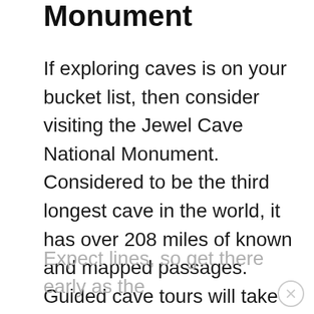Monument
If exploring caves is on your bucket list, then consider visiting the Jewel Cave National Monument. Considered to be the third longest cave in the world, it has over 208 miles of known and mapped passages. Guided cave tours will take you through the maze of passages, while guides teach you everything you'll need to know about the cave. Tours include the Scenic Tour, Discovery Talk, Historic Lantern Tour and the Wild Caving Tour.
Expect lines, so get there early as the